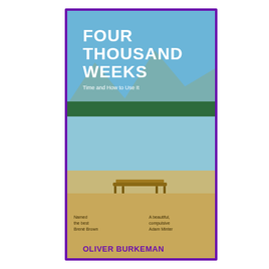[Figure (illustration): Book cover of 'Four Thousand Weeks: Time and How to Use It' by Oliver Burkeman. Cover shows a scenic lake with mountains and trees, and a wooden bench in the foreground. White text on blue background at top: FOUR THOUSAND WEEKS. Author name OLIVER BURKEMAN at bottom.]
Burkeman, Oliver: Four Thousand Weeks: Time and How to Use It
[Figure (illustration): Book cover of 'The Adventures of Miss Barbara Pym' by Paula Byrne. Cover features abstract colorful shapes (beige, teal, orange, pink) with a black-and-white photo of a woman in a floral dress. Dark serif text on cover.]
Paula Byrne: The Adventures